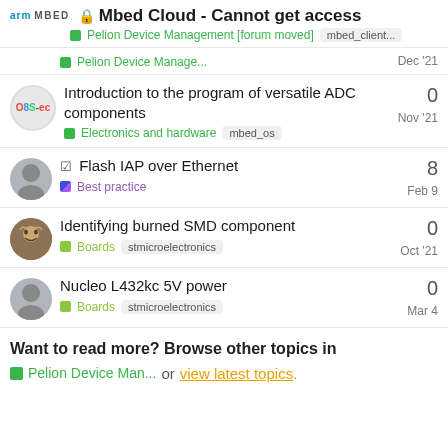🔒 Mbed Cloud - Cannot get access
Pelion Device Management [forum moved]   mbed_client...
Pelion Device Manage...   Dec '21
Introduction to the program of versatile ADC components
Electronics and hardware   mbed_os   Nov '21
0 replies
☑ Flash IAP over Ethernet
Best practice   Feb 9
8 replies
Identifying burned SMD component
Boards   stmicroelectronics   Oct '21
0 replies
Nucleo L432kc 5V power
Boards   stmicroelectronics   Mar 4
0 replies
Want to read more? Browse other topics in
Pelion Device Man...  or  view latest topics.